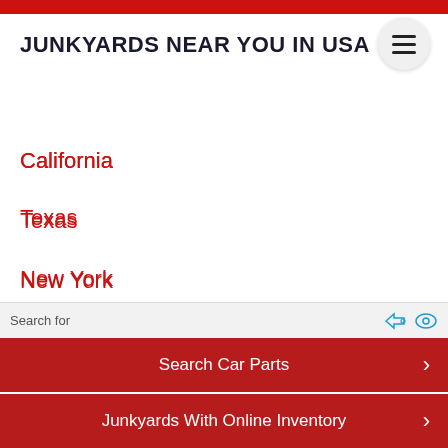JUNKYARDS NEAR YOU IN USA
California
Texas
New York
Florida
Illinois
Pennsylvania
Search for
Search Car Parts
Junkyards With Online Inventory